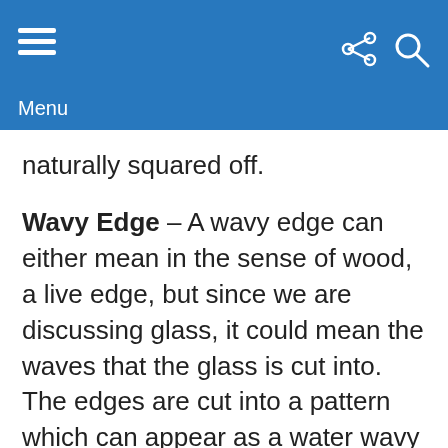Menu
naturally squared off.
Wavy Edge – A wavy edge can either mean in the sense of wood, a live edge, but since we are discussing glass, it could mean the waves that the glass is cut into. The edges are cut into a pattern which can appear as a water wavy edge.